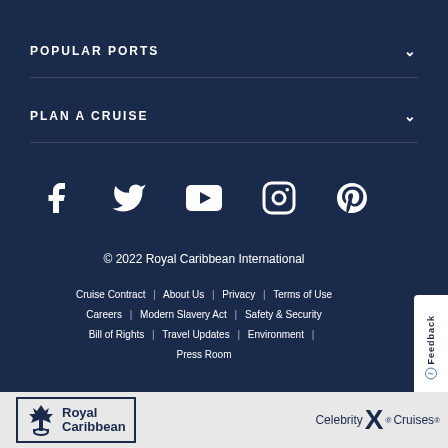POPULAR PORTS
PLAN A CRUISE
[Figure (other): Social media icons row: Facebook, Twitter, YouTube, Instagram, Pinterest]
© 2022 Royal Caribbean International
Cruise Contract | About Us | Privacy | Terms of Use | Careers | Modern Slavery Act | Safety & Security | Bill of Rights | Travel Updates | Environment | Press Room
[Figure (logo): Royal Caribbean International logo with crown anchor emblem in a box]
[Figure (logo): Celebrity X Cruises logo]